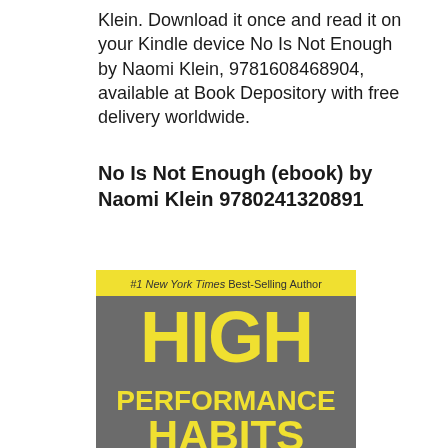Klein. Download it once and read it on your Kindle device No Is Not Enough by Naomi Klein, 9781608468904, available at Book Depository with free delivery worldwide.
No Is Not Enough (ebook) by Naomi Klein 9780241320891
[Figure (illustration): Book cover of 'High Performance Habits' with a yellow banner reading '#1 New York Times Best-Selling Author', a gray background, and bold yellow text showing 'HIGH PERFORMANCE HABITS']